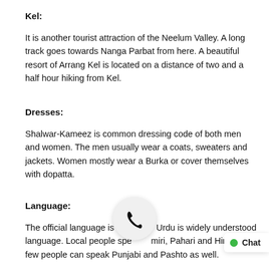Kel:
It is another tourist attraction of the Neelum Valley. A long track goes towards Nanga Parbat from here. A beautiful resort of Arrang Kel is located on a distance of two and a half hour hiking from Kel.
Dresses:
Shalwar-Kameez is common dressing code of both men and women. The men usually wear a coats, sweaters and jackets. Women mostly wear a Burka or cover themselves with dopatta.
Language:
The official language is English and Urdu is widely understood language. Local people speak Kashmiri, Pahari and Hindi. A few people can speak Punjabi and Pashto as well.